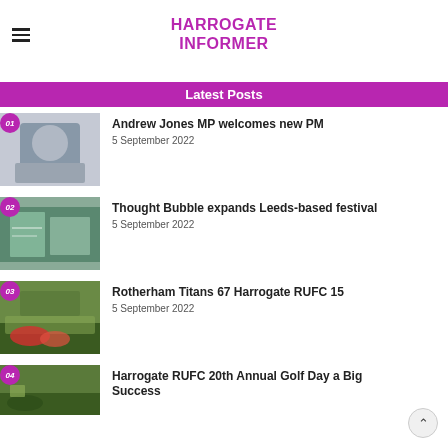HARROGATE INFORMER
Latest Posts
Andrew Jones MP welcomes new PM
5 September 2022
Thought Bubble expands Leeds-based festival
5 September 2022
Rotherham Titans 67 Harrogate RUFC 15
5 September 2022
Harrogate RUFC 20th Annual Golf Day a Big Success